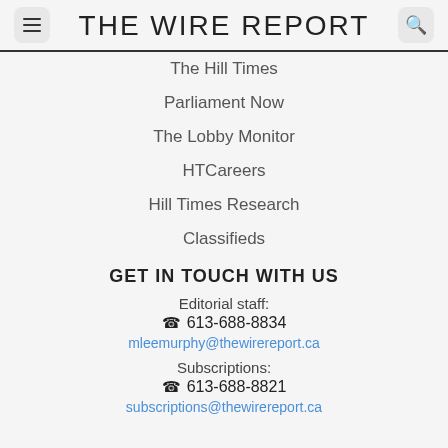THE WIRE REPORT
The Hill Times
Parliament Now
The Lobby Monitor
HTCareers
Hill Times Research
Classifieds
GET IN TOUCH WITH US
Editorial staff:
613-688-8834
mleemurphy@thewirereport.ca
Subscriptions:
613-688-8821
subscriptions@thewirereport.ca